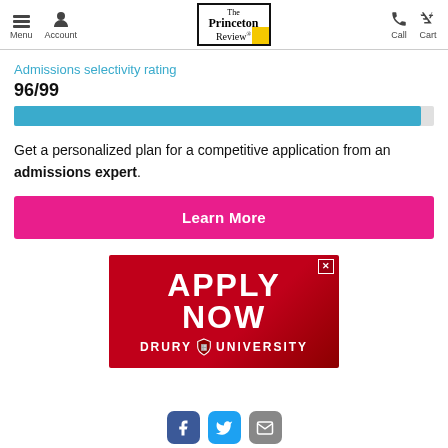Menu | Account | The Princeton Review | Call | Cart
Admissions selectivity rating
96/99
Get a personalized plan for a competitive application from an admissions expert.
Learn More
[Figure (infographic): APPLY NOW - DRURY UNIVERSITY advertisement banner on red background]
Facebook | Twitter | Email social icons